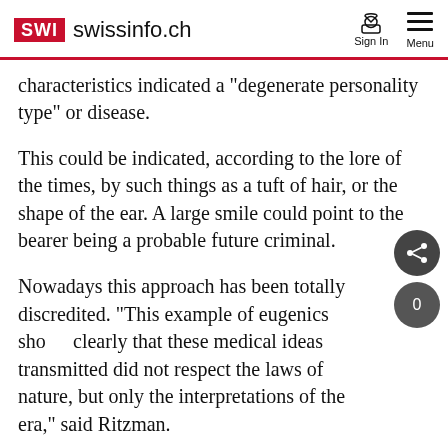SWI swissinfo.ch
characteristics indicated a "degenerate personality type" or disease.
This could be indicated, according to the lore of the times, by such things as a tuft of hair, or the shape of the ear. A large smile could point to the bearer being a probable future criminal.
Nowadays this approach has been totally discredited. "This example of eugenics shows clearly that these medical ideas transmitted did not respect the laws of nature, but only the interpretations of the era," said Ritzman.